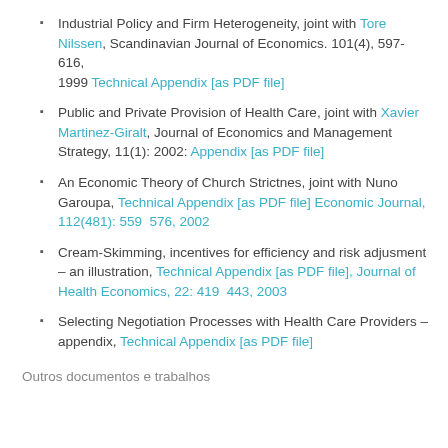Industrial Policy and Firm Heterogeneity, joint with Tore Nilssen, Scandinavian Journal of Economics. 101(4), 597-616, 1999 Technical Appendix [as PDF file]
Public and Private Provision of Health Care, joint with Xavier Martinez-Giralt, Journal of Economics and Management Strategy, 11(1): 2002: Appendix [as PDF file]
An Economic Theory of Church Strictnes, joint with Nuno Garoupa, Technical Appendix [as PDF file] Economic Journal, 112(481): 559 576, 2002
Cream-Skimming, incentives for efficiency and risk adjusment – an illustration, Technical Appendix [as PDF file], Journal of Health Economics, 22: 419 443, 2003
Selecting Negotiation Processes with Health Care Providers – appendix, Technical Appendix [as PDF file]
Outros documentos e trabalhos